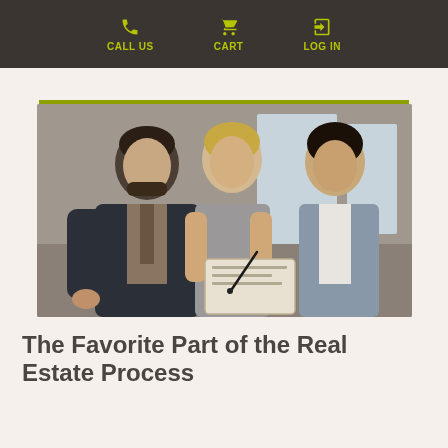CALL US  CART  LOG IN
[Figure (photo): Three business professionals (two women and one man) looking at a clipboard or document together, signing paperwork in a real estate or office setting.]
The Favorite Part of the Real Estate Process